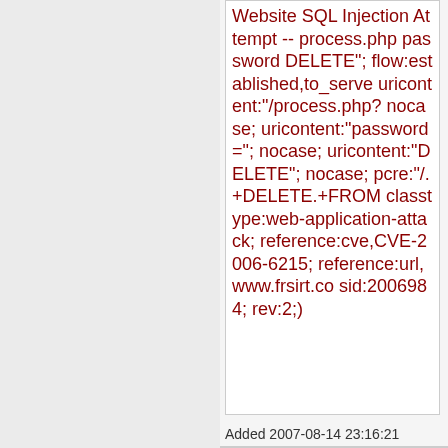Website SQL Injection Attempt -- process.php password DELETE"; flow:established,to_server; uricontent:"/process.php? nocase; uricontent:"password="; nocase; uricontent:"DELETE"; nocase; pcre:"/.+DELETE.+FROM classtype:web-application-attack; reference:cve,CVE-2006-6215; reference:url,www.frsirt.co sid:2006984; rev:2;)
Added 2007-08-14 23:16:21 UTC